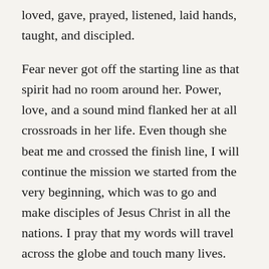loved, gave, prayed, listened, laid hands, taught, and discipled.
Fear never got off the starting line as that spirit had no room around her. Power, love, and a sound mind flanked her at all crossroads in her life. Even though she beat me and crossed the finish line, I will continue the mission we started from the very beginning, which was to go and make disciples of Jesus Christ in all the nations. I pray that my words will travel across the globe and touch many lives. Even more, I pray that multitudes will come to the Father through Jesus Christ even through this message. I pray that every single one of you love hand and always keep your eye tuned to the needy